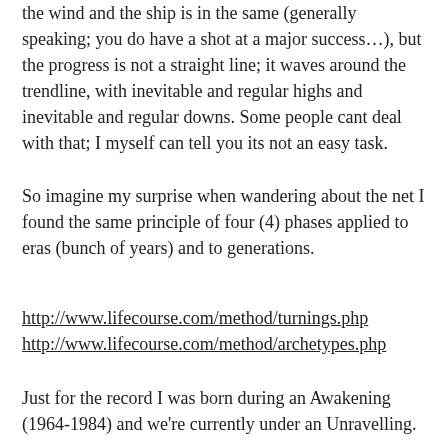the wind and the ship is in the same (generally speaking; you do have a shot at a major success…), but the progress is not a straight line; it waves around the trendline, with inevitable and regular highs and inevitable and regular downs. Some people cant deal with that; I myself can tell you its not an easy task.
So imagine my surprise when wandering about the net I found the same principle of four (4) phases applied to eras (bunch of years) and to generations.
http://www.lifecourse.com/method/turnings.php
http://www.lifecourse.com/method/archetypes.php
Just for the record I was born during an Awakening (1964-1984) and we're currently under an Unravelling.